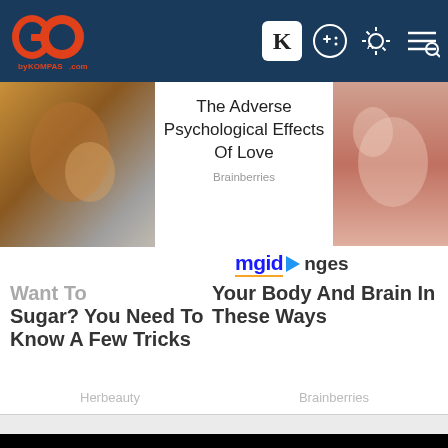GO by KOMPAS.com
[Figure (screenshot): Left article thumbnail: blurry close-up brownish/gray image]
The Adverse Psychological Effects Of Love
Brainberries
[Figure (logo): mgid logo with play icon]
[Figure (screenshot): Right article thumbnail: pinkish skin close-up]
Want To
Sugar? You Need To Know A Few Tricks
nges
Your Body And Brain In These Ways
Herbeauty
Brainberries
[Figure (screenshot): Black video player rectangle]
Kuota Besar, Harga Pas. Cocok Buat Yang Gamau Ribet! Ad by Smartfren